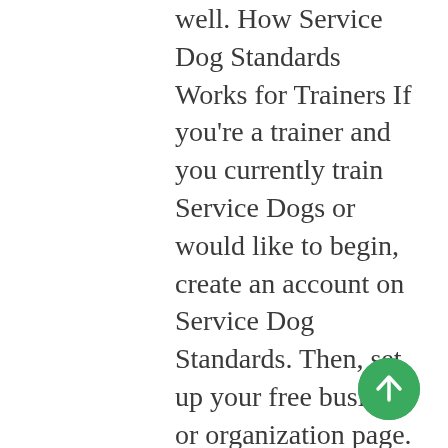well. How Service Dog Standards Works for Trainers If you're a trainer and you currently train Service Dogs or would like to begin, create an account on Service Dog Standards. Then, set up your free business or organization page. It's so robust, you can even use it in place of a website — no hosting fees or other costs of any kind. If you have a domain name, you can even forward it directly to your SDS profile page. From there, it's easy to invite clients to join. Example of a Service Dog Trainer profile page on Service Dog Standards Service Dog Standards features: · Free for trainers and handlers forever · Public profile page for service dog handlers with a
[Figure (other): Green circular floating action button with upward arrow icon]